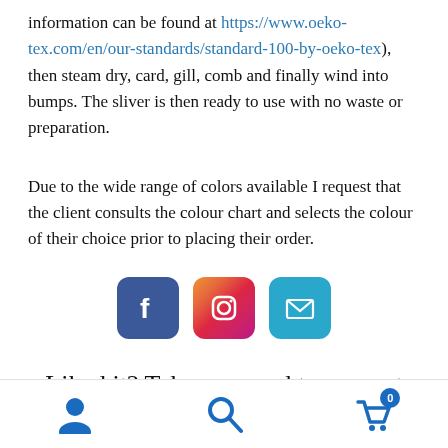information can be found at https://www.oeko-tex.com/en/our-standards/standard-100-by-oeko-tex), then steam dry, card, gill, comb and finally wind into bumps. The sliver is then ready to use with no waste or preparation.
Due to the wide range of colors available I request that the client consults the colour chart and selects the colour of their choice prior to placing their order.
[Figure (infographic): Three social media icons in a row: Facebook (blue), Instagram (gradient), and Email/envelope (light blue)]
Liked it? Take a second to support Glynis Brooke on Patreon!
Navigation footer with user icon, search icon, and shopping cart icon with badge showing 0